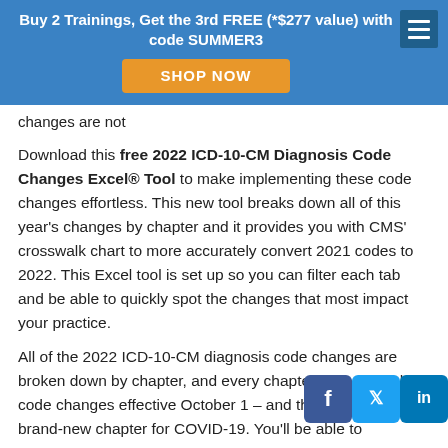Buy 2 Trainings, Get the 3rd FREE (*$277 value) with code SUMMER3 SHOP NOW
changes are not
Download this free 2022 ICD-10-CM Diagnosis Code Changes Excel® Tool to make implementing these code changes effortless. This new tool breaks down all of this year's changes by chapter and it provides you with CMS' crosswalk chart to more accurately convert 2021 codes to 2022. This Excel tool is set up so you can filter each tab and be able to quickly spot the changes that most impact your practice.
All of the 2022 ICD-10-CM diagnosis code changes are broken down by chapter, and every chapter except one has code changes effective October 1 – and there's even a brand-new chapter for COVID-19. You'll be able to